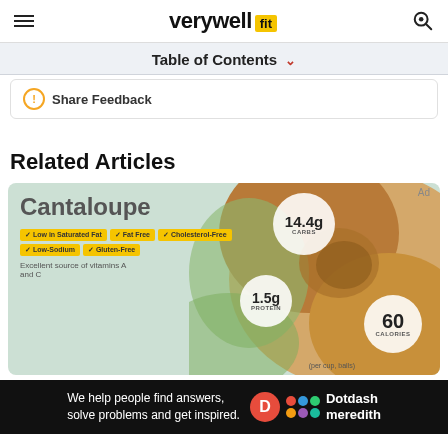verywell fit
Table of Contents
Share Feedback
Related Articles
[Figure (infographic): Cantaloupe nutrition infographic card showing 14.4g carbs, 1.5g protein, 60 calories, with badges: Low in Saturated Fat, Fat Free, Cholesterol-Free, Low-Sodium, Gluten-Free. Text: Excellent source of vitamins A and C.]
We help people find answers, solve problems and get inspired.
Dotdash meredith